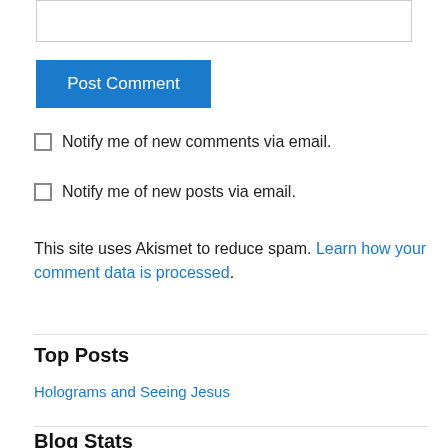[Figure (screenshot): Text area input box (partial, top of page)]
Post Comment
Notify me of new comments via email.
Notify me of new posts via email.
This site uses Akismet to reduce spam. Learn how your comment data is processed.
Top Posts
Holograms and Seeing Jesus
Blog Stats